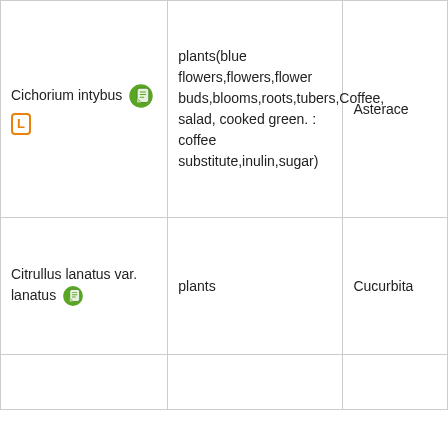| Name | Description | Family |
| --- | --- | --- |
| Cichorium intybus [icon] [L] | plants(blue flowers,flowers,flower buds,blooms,roots,tubers,Coffee, salad, cooked green. : coffee substitute,inulin,sugar) | Asterace... |
| Citrullus lanatus var. lanatus [icon] | plants | Cucurbita... |
|  |  |  |